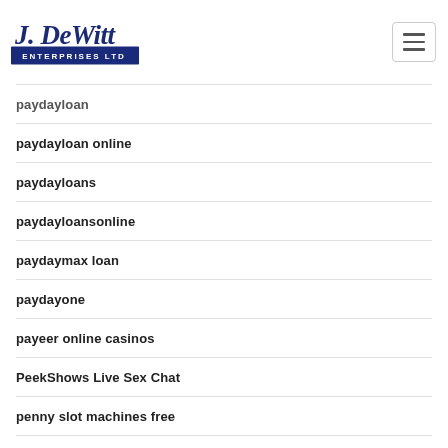J. DeWitt Enterprises Ltd
paydayloan
paydayloan online
paydayloans
paydayloansonline
paydaymax loan
paydayone
payeer online casinos
PeekShows Live Sex Chat
penny slot machines free